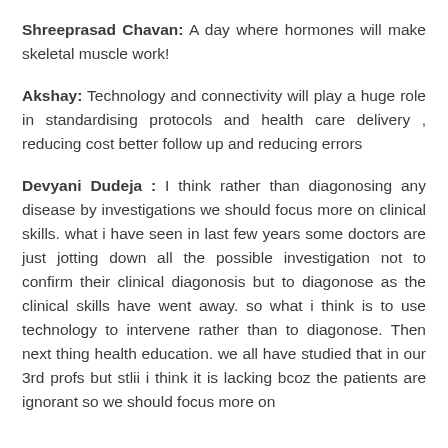Shreeprasad Chavan: A day where hormones will make skeletal muscle work!
Akshay: Technology and connectivity will play a huge role in standardising protocols and health care delivery , reducing cost better follow up and reducing errors
Devyani Dudeja : I think rather than diagonosing any disease by investigations we should focus more on clinical skills. what i have seen in last few years some doctors are just jotting down all the possible investigation not to confirm their clinical diagonosis but to diagonose as the clinical skills have went away. so what i think is to use technology to intervene rather than to diagonose. Then next thing health education. we all have studied that in our 3rd profs but stlii i think it is lacking bcoz the patients are ignorant so we should focus more on